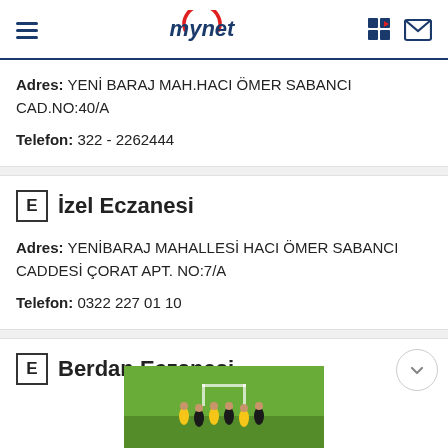mynet
Adres: YENİ BARAJ MAH.HACI ÖMER SABANCI CAD.NO:40/A
Telefon: 322 - 2262444
E İzel Eczanesi
Adres: YENİBARAJ MAHALLESİ HACI ÖMER SABANCI CADDESİ ÇORAT APT. NO:7/A
Telefon: 0322 227 01 10
E Berdan Eczanesi
[Figure (photo): Soccer team photo on green field]